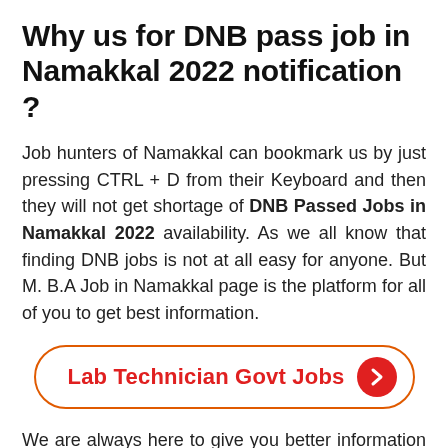Why us for DNB pass job in Namakkal 2022 notification ?
Job hunters of Namakkal can bookmark us by just pressing CTRL + D from their Keyboard and then they will not get shortage of DNB Passed Jobs in Namakkal 2022 availability. As we all know that finding DNB jobs is not at all easy for anyone. But M. B.A Job in Namakkal page is the platform for all of you to get best information.
[Figure (other): Button with orange border and red text reading 'Lab Technician Govt Jobs' with a red circular arrow icon on the right]
We are always here to give you better information of DNB related Jobs. DNB Students have great opportunity for getting Jobs in Namakkal. Due to...